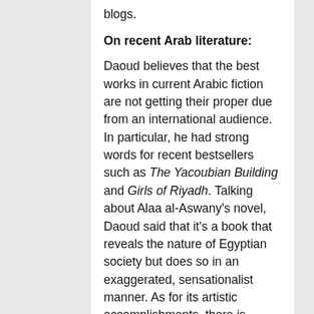blogs.
On recent Arab literature:
Daoud believes that the best works in current Arabic fiction are not getting their proper due from an international audience. In particular, he had strong words for recent bestsellers such as The Yacoubian Building and Girls of Riyadh. Talking about Alaa al-Aswany's novel, Daoud said that it's a book that reveals the nature of Egyptian society but does so in an exaggerated, sensationalist manner. As for its artistic accomplishments, there is nothing new in its structure or technique. As such, he said Yacoubian fails to stand out artistically, either among Egyptian novels or in the wider field of Arabic literature.
According to Daoud, the sensationalist content of Yacoubian largely accounts for its runaway success in the Middle East and beyond. He also said that many Arab writers and critics consider